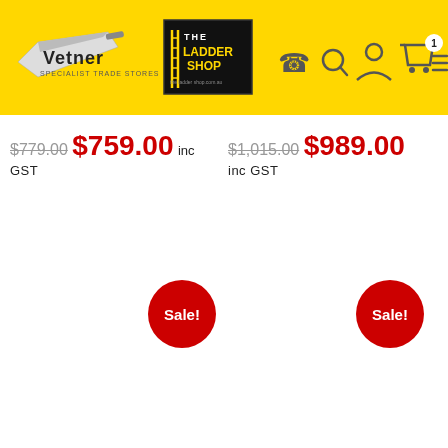[Figure (logo): Vetner Specialist Trade Stores logo and The Ladder Shop logo on yellow header bar with phone, search, account, cart and menu icons]
$779.00 $759.00 inc GST
$1,015.00 $989.00 inc GST
Sale!
Sale!